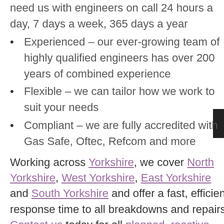need us with engineers on call 24 hours a day, 7 days a week, 365 days a year
Experienced – our ever-growing team of highly qualified engineers has over 200 years of combined experience
Flexible – we can tailor how we work to suit your needs
Compliant – we are fully accredited with Gas Safe, Oftec, Refcom and more
Working across Yorkshire, we cover North Yorkshire, West Yorkshire, East Yorkshire and South Yorkshire and offer a fast, efficient response time to all breakdowns and repairs. Contact us today for all planned, reactive maintenance or emergency call out. Call 01423 226578 or get in touch to see how